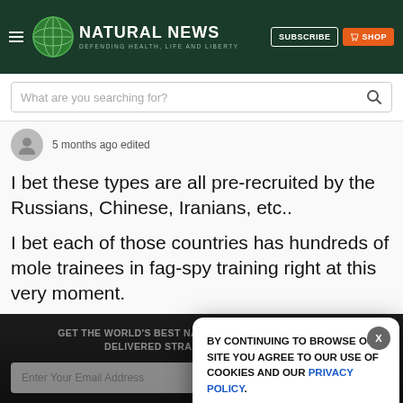NATURAL NEWS - Defending Health, Life and Liberty
What are you searching for?
5 months ago edited
I bet these types are all pre-recruited by the Russians, Chinese, Iranians, etc..
I bet each of those countries has hundreds of mole trainees in fag-spy training right at this very moment.
GET THE WORLD'S BEST NATURAL HEALTH NEWSLETTER DELIVERED STRAIGHT TO YOUR INBOX
BY CONTINUING TO BROWSE OUR SITE YOU AGREE TO OUR USE OF COOKIES AND OUR PRIVACY POLICY. Agree and close